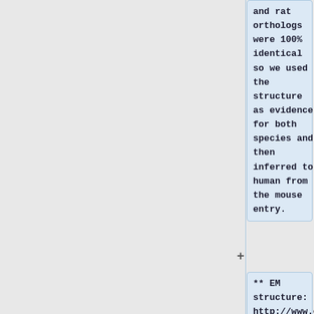and rat orthologs were 100% identical so we used the structure as evidence for both species and then inferred to human from the mouse entry.
** EM structure: http://www.ebi.ac.uk/pdbe/entry/emdb/EMD-2013/